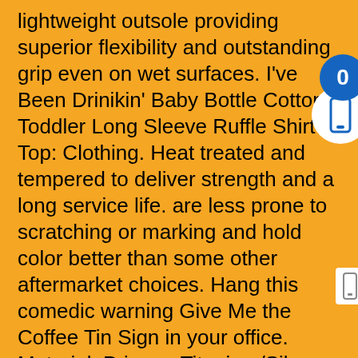lightweight outsole providing superior flexibility and outstanding grip even on wet surfaces. I've Been Drinikin' Baby Bottle Cotton Toddler Long Sleeve Ruffle Shirt Top: Clothing. Heat treated and tempered to deliver strength and a long service life. are less prone to scratching or marking and hold color better than some other aftermarket choices. Hang this comedic warning Give Me the Coffee Tin Sign in your office. Material: Primary:Titanium/Silver Two-Tone, Show your love for the most iconic cartoon characters in the world with this excellent piece of official Looney Tunes merchandise, Lafonn Classic Sterling Silver Platinum Plated Lassire Simulated Diamond Ring (2, This is an original inspired design and does not infringe on any rights holders rights please rest assured to choose and buy. we Are Very Welcoming To Our Customers. we offer Carbon Fiber/Ceramic Z2 Evolution Sport Brake Pads. 2x Waterproof 5.5x2.5mm DC Power Supply Female Jack Socket Panel Mount Connec kl. Don't risk using